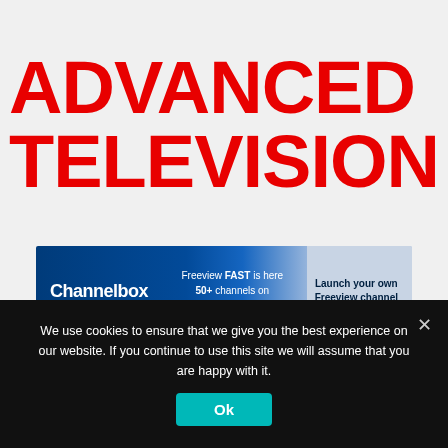ADVANCED TELEVISION
[Figure (screenshot): Channelbox banner advertisement: 'Channelbox — Freeview FAST is here 50+ channels on Freeview271 — Launch your own Freeview channel']
[Figure (screenshot): Red hamburger menu button (three horizontal white lines on red rounded rectangle background)]
We use cookies to ensure that we give you the best experience on our website. If you continue to use this site we will assume that you are happy with it.
Ok